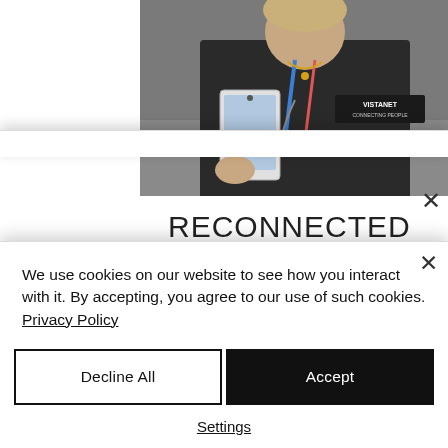[Figure (photo): A person wearing a dark vest with 'VISTANET CONNECTING PEOPLE' logo, holding a tablet/phone device, with a blue lanyard and headphones visible.]
RECONNECTED WITH OUR VENDORS
This was a chance to reconnect with some of our vendors.  They really help support us with products to
We use cookies on our website to see how you interact with it. By accepting, you agree to our use of such cookies. Privacy Policy
Decline All
Accept
Settings